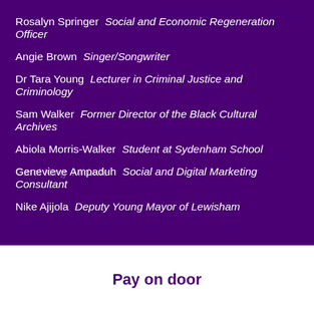Rosalyn Springer  Social and Economic Regeneration Officer
Angie Brown  Singer/Songwriter
Dr Tara Young  Lecturer in Criminal Justice and Criminology
Sam Walker  Former Director of the Black Cultural Archives
Abiola Morris-Walker  Student at Sydenham School
Genevieve Ampaduh  Social and Digital Marketing Consultant
Nike Ajijola  Deputy Young Mayor of Lewisham
Carol King  Midwife
Pay on door